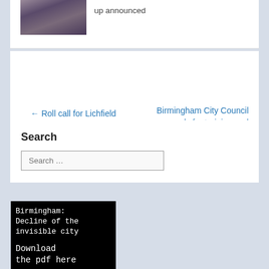[Figure (photo): Small thumbnail photo of people in costume or formal attire]
up announced
← Roll call for Lichfield Festical
Birmingham City Council scoops awards for training and building →
Search
Search …
[Figure (other): Black background image with white monospace text reading: Birmingham: Decline of the invisible city  Download the pdf here]